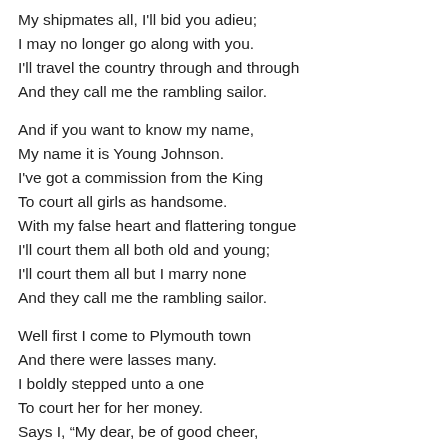My shipmates all, I'll bid you adieu;
I may no longer go along with you.
I'll travel the country through and through
And they call me the rambling sailor.
And if you want to know my name,
My name it is Young Johnson.
I've got a commission from the King
To court all girls as handsome.
With my false heart and flattering tongue
I'll court them all both old and young;
I'll court them all but I marry none
And they call me the rambling sailor.
Well first I come to Plymouth town
And there were lasses many.
I boldly stepped unto a one
To court her for her money.
Says I, “My dear, be of good cheer,
I will not leave you, do not fear.
I'll travel the country far and near
And they call me the rambling sailor.”
And next I come to Portsmouth town
And there were lasses plenty.